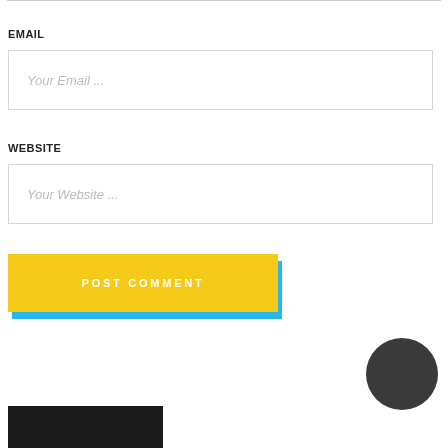EMAIL
Your Email ...
WEBSITE
Your Website ...
POST COMMENT